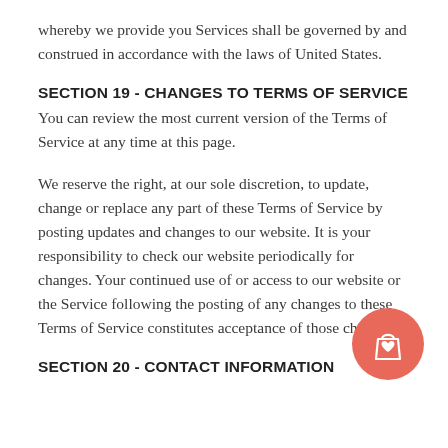whereby we provide you Services shall be governed by and construed in accordance with the laws of United States.
SECTION 19 - CHANGES TO TERMS OF SERVICE
You can review the most current version of the Terms of Service at any time at this page.
We reserve the right, at our sole discretion, to update, change or replace any part of these Terms of Service by posting updates and changes to our website. It is your responsibility to check our website periodically for changes. Your continued use of or access to our website or the Service following the posting of any changes to these Terms of Service constitutes acceptance of those changes.
SECTION 20 - CONTACT INFORMATION